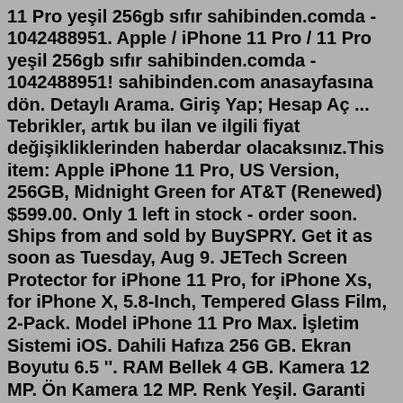11 Pro yeşil 256gb sıfır sahibinden.comda - 1042488951. Apple / iPhone 11 Pro / 11 Pro yeşil 256gb sıfır sahibinden.comda - 1042488951! sahibinden.com anasayfasına dön. Detaylı Arama. Giriş Yap; Hesap Aç ... Tebrikler, artık bu ilan ve ilgili fiyat değişikliklerinden haberdar olacaksınız.This item: Apple iPhone 11 Pro, US Version, 256GB, Midnight Green for AT&T (Renewed) $599.00. Only 1 left in stock - order soon. Ships from and sold by BuySPRY. Get it as soon as Tuesday, Aug 9. JETech Screen Protector for iPhone 11 Pro, for iPhone Xs, for iPhone X, 5.8-Inch, Tempered Glass Film, 2-Pack. Model iPhone 11 Pro Max. İşletim Sistemi iOS. Dahili Hafıza 256 GB. Ekran Boyutu 6.5 ''. RAM Bellek 4 GB. Kamera 12 MP. Ön Kamera 12 MP. Renk Yeşil. Garanti Garantisi Yok.Cámara. 108MP Principal f/1.8 | 8MP ultra-wide f/2.2, FOV 120° | 2MP macro f/2.4. Capacidad Batería. 4500mAh. Conexión. USB-C. Conexiones. Audio: Altavoces duales súper lineales SONIDO DE JBL | Alta resolución | Inalámbrico de alta resolución | Toma de auriculares Dolby Atmos®